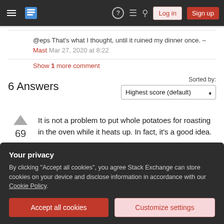Stack Exchange navigation bar with Log in and Sign up buttons
@eps That's what I thought, until it ruined my dinner once. – Mast Mar 27, 2020 at 8:22
Show 1 more comment
6 Answers
Sorted by: Highest score (default)
It is not a problem to put whole potatoes for roasting in the oven while it heats up. In fact, it's a good idea.
69
Your privacy
By clicking "Accept all cookies", you agree Stack Exchange can store cookies on your device and disclose information in accordance with our Cookie Policy.
Accept all cookies  Customize settings
time my oven takes to heat up to the recommended